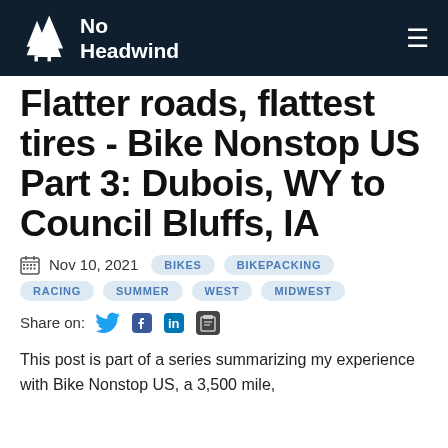No Headwind
Flatter roads, flattest tires - Bike Nonstop US Part 3: Dubois, WY to Council Bluffs, IA
Nov 10, 2021   BIKES   BIKEPACKING   RACING   SUMMER   WEST   MIDWEST
Share on:
This post is part of a series summarizing my experience with Bike Nonstop US, a 3,500 mile,